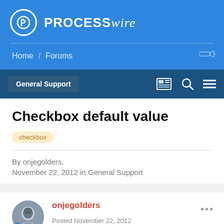PROCESSWIRE
Home / Forums
General Support
Checkbox default value
checkbox
By onjegolders,
November 22, 2012 in General Support
onjegolders
Posted November 22, 2012